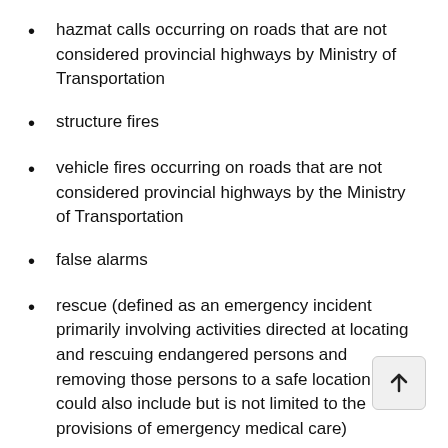hazmat calls occurring on roads that are not considered provincial highways by Ministry of Transportation
structure fires
vehicle fires occurring on roads that are not considered provincial highways by the Ministry of Transportation
false alarms
rescue (defined as an emergency incident primarily involving activities directed at locating and rescuing endangered persons and removing those persons to a safe location. This could also include but is not limited to the provisions of emergency medical care)
provision of any emergency services listed above,